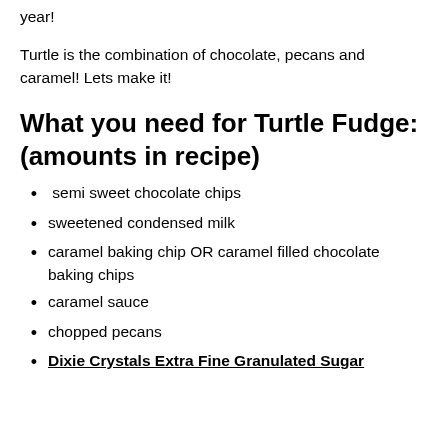year!
Turtle is the combination of chocolate, pecans and caramel! Lets make it!
What you need for Turtle Fudge: (amounts in recipe)
semi sweet chocolate chips
sweetened condensed milk
caramel baking chip OR caramel filled chocolate baking chips
caramel sauce
chopped pecans
Dixie Crystals Extra Fine Granulated Sugar